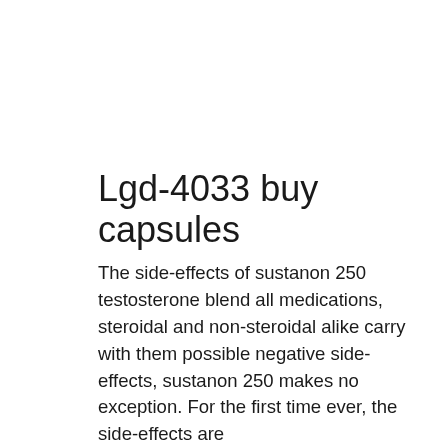Lgd-4033 buy capsules
The side-effects of sustanon 250 testosterone blend all medications, steroidal and non-steroidal alike carry with them possible negative side-effects, sustanon 250 makes no exception. For the first time ever, the side-effects are